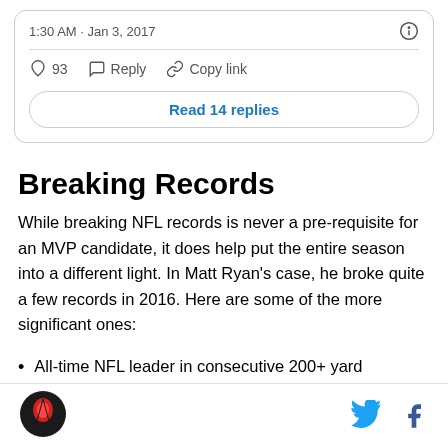[Figure (screenshot): Tweet card showing timestamp '1:30 AM · Jan 3, 2017' with info icon, divider line, action buttons (heart 93, Reply, Copy link), and 'Read 14 replies' button]
Breaking Records
While breaking NFL records is never a pre-requisite for an MVP candidate, it does help put the entire season into a different light. In Matt Ryan's case, he broke quite a few records in 2016. Here are some of the more significant ones:
All-time NFL leader in consecutive 200+ yard
Footer with logo, Twitter icon, and Facebook icon